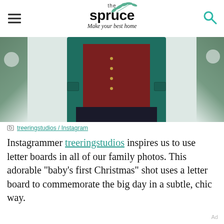the spruce – Make your best home
[Figure (photo): Baby wearing teal/green cardigan over red sweater, lying on white background with pine branches with snow at edges, photographed from above]
treeringstudios / Instagram
Instagrammer treeringstudios inspires us to use letter boards in all of our family photos. This adorable "baby's first Christmas" shot uses a letter board to commemorate the big day in a subtle, chic way.
Ad